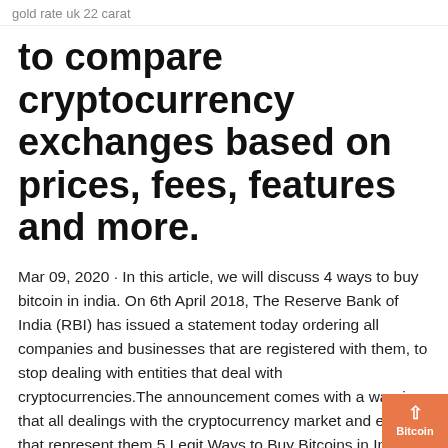gold rate uk 22 carat
to compare cryptocurrency exchanges based on prices, fees, features and more.
Mar 09, 2020 · In this article, we will discuss 4 ways to buy bitcoin in india. On 6th April 2018, The Reserve Bank of India (RBI) has issued a statement today ordering all companies and businesses that are registered with them, to stop dealing with entities that deal with cryptocurrencies.The announcement comes with a warning that all dealings with the cryptocurrency market and entities that represent them 5 Legit Ways to Buy Bitcoins in India (2019 Update) Looking to buy Bitcoin in India? In this guide I will review the status of Bitcoin in India, its popularity and the different exchanges you can use to get Bitcoins in India. Buying Bitcoins in India Summary. While Bitcoin is not accepted as a currency in India, it is possible to own and